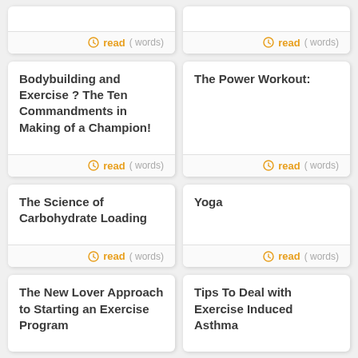read ( words)
read ( words)
Bodybuilding and Exercise ? The Ten Commandments in Making of a Champion!
read ( words)
The Power Workout:
read ( words)
The Science of Carbohydrate Loading
read ( words)
Yoga
read ( words)
The New Lover Approach to Starting an Exercise Program
Tips To Deal with Exercise Induced Asthma